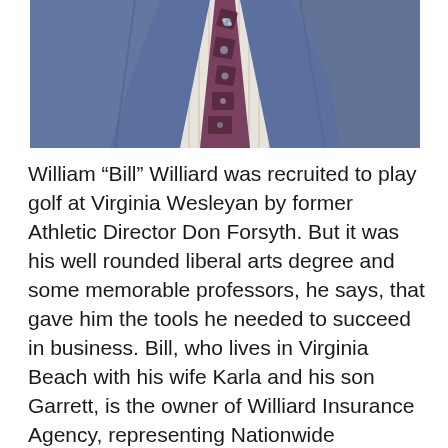[Figure (photo): Close-up photo of a man in a blue suit jacket wearing a white striped dress shirt and a purple/mauve patterned tie with floral/geometric designs. The photo is cropped at the chest level, showing no face.]
William “Bill” Williard was recruited to play golf at Virginia Wesleyan by former Athletic Director Don Forsyth. But it was his well rounded liberal arts degree and some memorable professors, he says, that gave him the tools he needed to succeed in business. Bill, who lives in Virginia Beach with his wife Karla and his son Garrett, is the owner of Williard Insurance Agency, representing Nationwide Insurance (LUTCF). In addition to playing golf while at Wesleyan, he participated in the Liberal Arts Management Program (LAMP), was a Future Business Leader and a member of